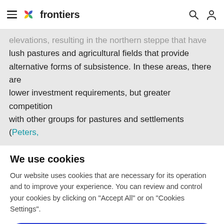frontiers
elevations, resulting in the northern steppe that have lush pastures and agricultural fields that provide alternative forms of subsistence. In these areas, there are lower investment requirements, but greater competition with other groups for pastures and settlements (Peters,
We use cookies
Our website uses cookies that are necessary for its operation and to improve your experience. You can review and control your cookies by clicking on "Accept All" or on "Cookies Settings".
Accept Cookies
Cookies Settings